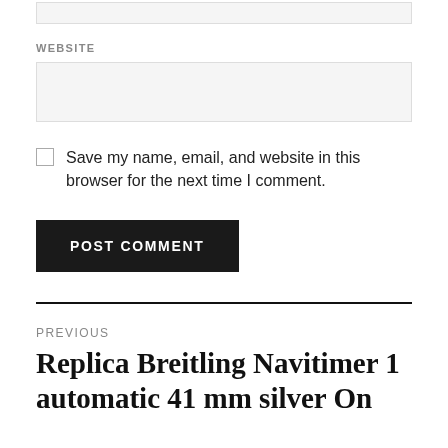[Figure (other): Top of a form input box (partially visible at top of page)]
WEBSITE
[Figure (other): Website form input text field]
Save my name, email, and website in this browser for the next time I comment.
POST COMMENT
PREVIOUS
Replica Breitling Navitimer 1 automatic 41 mm silver On